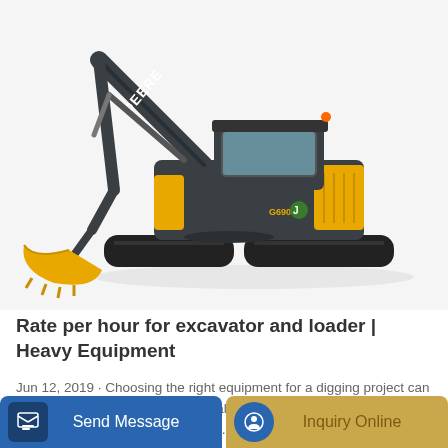[Figure (photo): John Deere yellow and black tracked excavator on white background, with extended boom arm and bucket]
Rate per hour for excavator and loader | Heavy Equipment
Jun 12, 2019 · Choosing the right equipment for a digging project can be a time-consuming task, especially since it's so important to make the right choice. Even once you've...